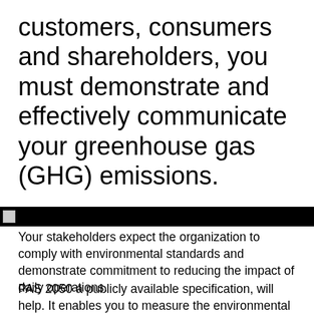customers, consumers and shareholders, you must demonstrate and effectively communicate your greenhouse gas (GHG) emissions.
[Figure (other): Black horizontal banner/bar with a small image icon on the left side]
Your stakeholders expect the organization to comply with environmental standards and demonstrate commitment to reducing the impact of daily operations.
PAS 2050 a publicly available specification, will help. It enables you to measure the environmental impact of your organization's activities, products and services and measure their lifecycle GHG emissions.
SGS can help your organization meet these carbon footprint standards. Our audit and assessment can lead